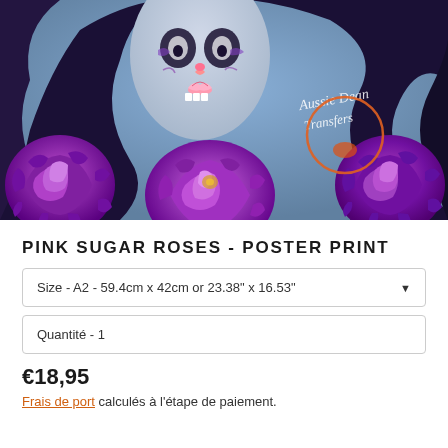[Figure (illustration): Day of the Dead sugar skull woman illustration with purple roses and the Aussie Dean Transfers watermark logo in orange]
PINK SUGAR ROSES - POSTER PRINT
Size - A2 - 59.4cm x 42cm or 23.38" x 16.53"
Quantité - 1
€18,95
Frais de port calculés à l'étape de paiement.